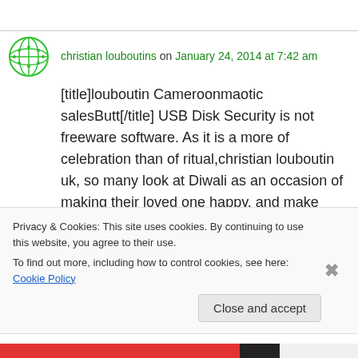christian louboutins on January 24, 2014 at 7:42 am
[title]louboutin Cameroonmaotic salesButt[/title] USB Disk Security is not freeware software. As it is a more of celebration than of ritual,christian louboutin uk, so many look at Diwali as an occasion of making their loved one happy, and make them feel specials. Glaxo's new web site contains christian louboutin about dieting and weight-loss as well as recipes, quizzes and
Privacy & Cookies: This site uses cookies. By continuing to use this website, you agree to their use.
To find out more, including how to control cookies, see here: Cookie Policy